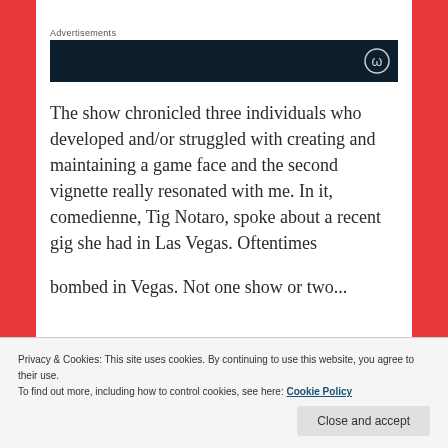Advertisements
[Figure (other): Dark navy advertisement banner with a white circular icon in the bottom right corner]
The show chronicled three individuals who developed and/or struggled with creating and maintaining a game face and the second vignette really resonated with me. In it, comedienne, Tig Notaro, spoke about a recent gig she had in Las Vegas. Oftentimes
Privacy & Cookies: This site uses cookies. By continuing to use this website, you agree to their use.
To find out more, including how to control cookies, see here: Cookie Policy
Close and accept
bombed in Vegas. Not one show or two...